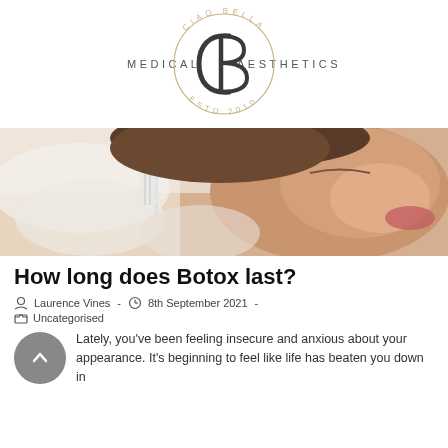[Figure (logo): Ciao Bella Medical Aesthetics logo — circular text reading CIAO BELLA at top and ESTD 2010 at bottom, with CB monogram in center, MEDICAL AESTHETICS text flanking the circle]
[Figure (photo): Close-up photo of a woman receiving a facial injection (Botox), with gloved hands holding a syringe near her cheek/jawline area, woman's eyes closed]
How long does Botox last?
Laurence Vines  -  8th September 2021  -  Uncategorised
Lately, you've been feeling insecure and anxious about your appearance. It's beginning to feel like life has beaten you down in